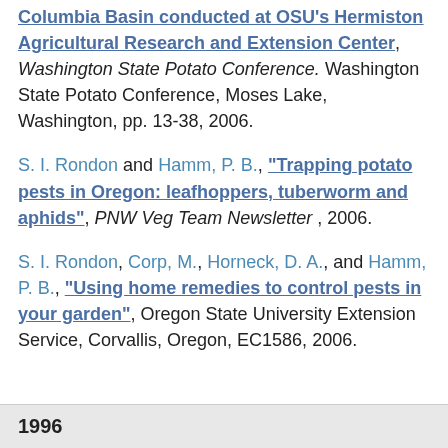Columbia Basin conducted at OSU's Hermiston Agricultural Research and Extension Center", Washington State Potato Conference. Washington State Potato Conference, Moses Lake, Washington, pp. 13-38, 2006.
S. I. Rondon and Hamm, P. B., "Trapping potato pests in Oregon: leafhoppers, tuberworm and aphids", PNW Veg Team Newsletter, 2006.
S. I. Rondon, Corp, M., Horneck, D. A., and Hamm, P. B., "Using home remedies to control pests in your garden", Oregon State University Extension Service, Corvallis, Oregon, EC1586, 2006.
1996